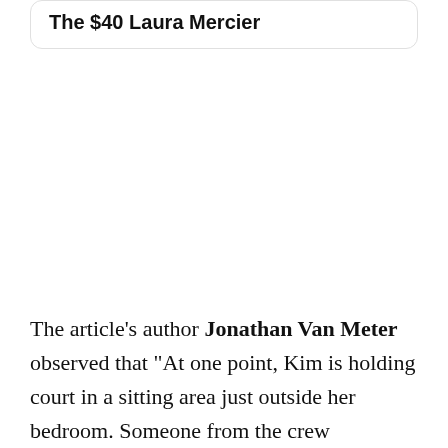The $40 Laura Mercier
The article's author Jonathan Van Meter observed that “At one point, Kim is holding court in a sitting area just outside her bedroom. Someone from the crew